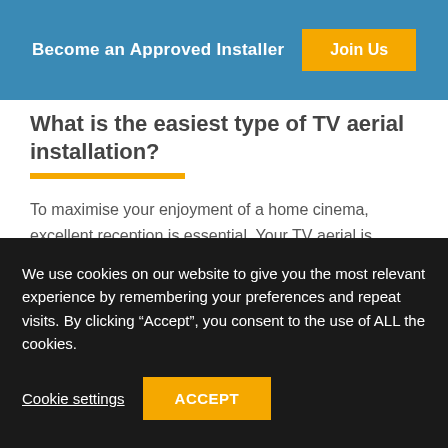Become an Approved Installer | Join Us
What is the easiest type of TV aerial installation?
To maximise your enjoyment of a home cinema, excellent reception is essential. Your TV aerial is responsible for the quality of the signal you receive, making it an important [...]
read more
We use cookies on our website to give you the most relevant experience by remembering your preferences and repeat visits. By clicking “Accept”, you consent to the use of ALL the cookies.
Cookie settings | ACCEPT